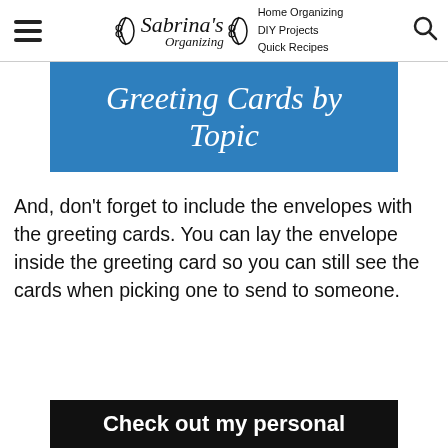Sabrina's Organizing — Home Organizing, DIY Projects, Quick Recipes
Greeting Cards by Topic
And, don't forget to include the envelopes with the greeting cards. You can lay the envelope inside the greeting card so you can still see the cards when picking one to send to someone.
Check out my personal